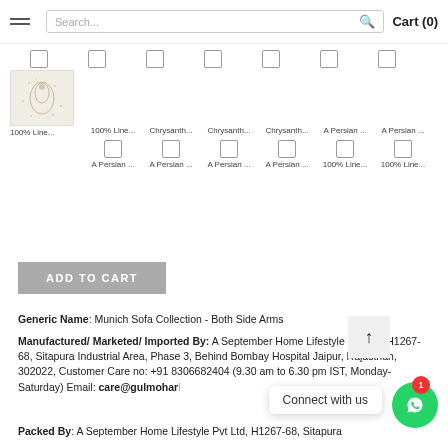Cart (0)
[Figure (screenshot): Product selection grid with checkboxes and thumbnail images showing fabric options labeled 100% Line..., Chrysanth..., A Persian...]
ADD TO CART
Generic Name: Munich Sofa Collection - Both Side Arms
Manufactured/ Marketed/ Imported By: A September Home Lifestyle Pvt Ltd, H1267-68, Sitapura Industrial Area, Phase 3, Behind Bombay Hospital Jaipur, Rajasthan, 302022, Customer Care no: +91 8306682404 (9.30 am to 6.30 pm IST, Monday-Saturday) Email: care@gulmohar...
Packed By: A September Home Lifestyle Pvt Ltd, H1267-68, Sitapura
Connect with us